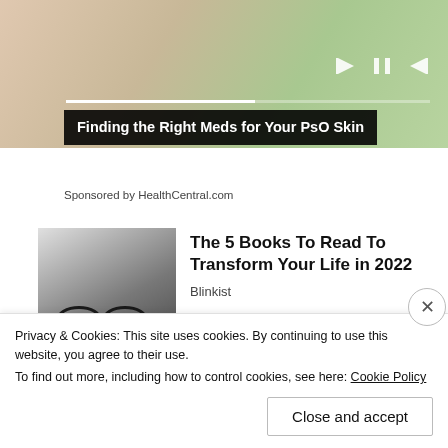[Figure (photo): Close-up photo of hands/skin with green background, media player controls overlay]
Finding the Right Meds for Your PsO Skin
Sponsored by HealthCentral.com
[Figure (photo): Black and white photo of a young man with long hair and round glasses]
The 5 Books To Read To Transform Your Life in 2022
Blinkist
Sizing Up Your Psoriasis
Privacy & Cookies: This site uses cookies. By continuing to use this website, you agree to their use.
To find out more, including how to control cookies, see here: Cookie Policy
Close and accept